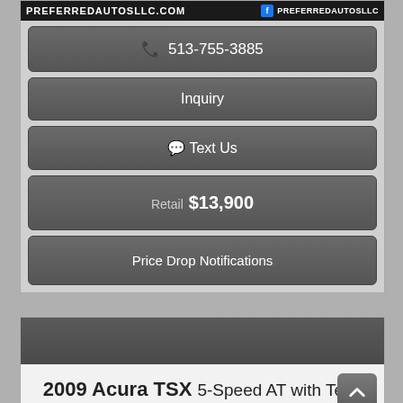[Figure (screenshot): Header banner with PREFERREDAUTOSLLC.COM and Facebook PREFERREDAUTOSLLC logo]
📞 513-755-3885
Inquiry
💬 Text Us
Retail $13,900
Price Drop Notifications
2009 Acura TSX 5-Speed AT with Tech Package